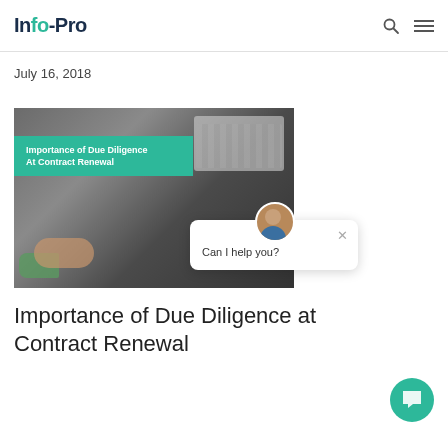Info-Pro
July 16, 2018
[Figure (photo): Photo of people at a desk with laptop and papers; overlaid teal banner reading 'Importance of Due Diligence At Contract Renewal']
Importance of Due Diligence at Contract Renewal